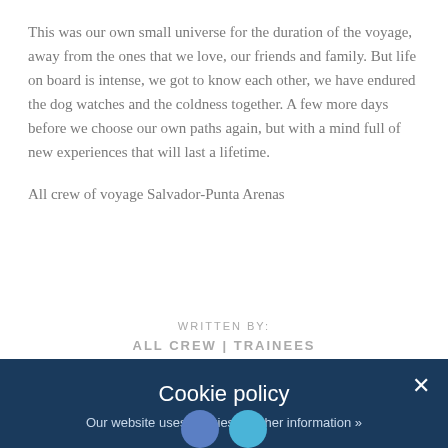This was our own small universe for the duration of the voyage, away from the ones that we love, our friends and family. But life on board is intense, we got to know each other, we have endured the dog watches and the coldness together. A few more days before we choose our own paths again, but with a mind full of new experiences that will last a lifetime.
All crew of voyage Salvador-Punta Arenas
WRITTEN BY:
ALL CREW | TRAINEES
Cookie policy
Our website uses cookies. Further information »